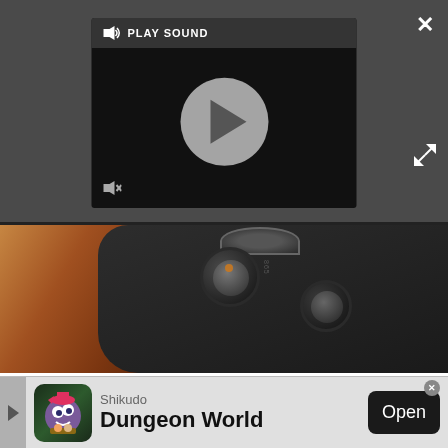[Figure (screenshot): Video player overlay on dark grey background showing a play button circle and 'PLAY SOUND' label, with a close X button top right and expand arrows bottom right]
[Figure (photo): Close-up photo of a hand holding an Xbox Elite Controller, showing thumbsticks and bumpers against a dark background]
A new Xbox Elite Controller may have leaked
The Xbox Elite Controller is a popular premium accessory
[Figure (screenshot): Advertisement banner for Shikudo Dungeon World app with game icon on left, text in center, and Open button on right]